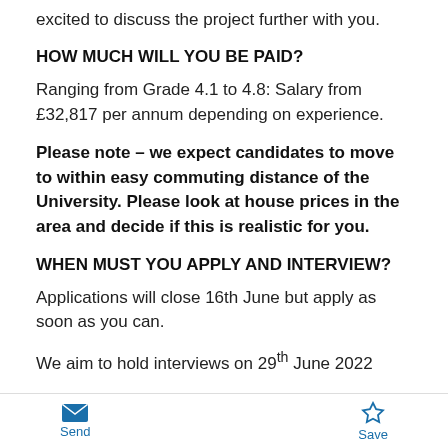excited to discuss the project further with you.
HOW MUCH WILL YOU BE PAID?
Ranging from Grade 4.1 to 4.8: Salary from £32,817 per annum depending on experience.
Please note – we expect candidates to move to within easy commuting distance of the University. Please look at house prices in the area and decide if this is realistic for you.
WHEN MUST YOU APPLY AND INTERVIEW?
Applications will close 16th June but apply as soon as you can.
We aim to hold interviews on 29th June 2022
WHEN WILL YOU START?
Send  Save